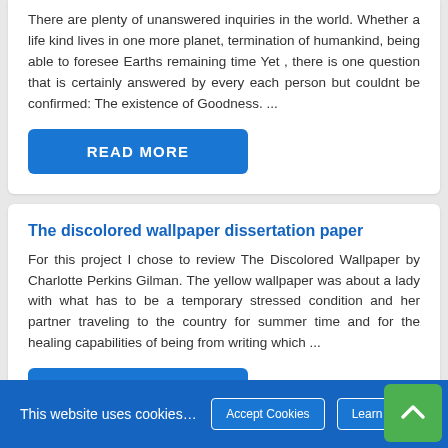There are plenty of unanswered inquiries in the world. Whether a life kind lives in one more planet, termination of humankind, being able to foresee Earths remaining time Yet , there is one question that is certainly answered by every each person but couldnt be confirmed: The existence of Goodness. ...
READ MORE
The discolored wallpaper dissertation paper
For this project I chose to review The Discolored Wallpaper by Charlotte Perkins Gilman. The yellow wallpaper was about a lady with what has to be a temporary stressed condition and her partner traveling to the country for summer time and for the healing capabilities of being from writing which ...
READ MORE
This website uses cookies to ensure you have the best exper...